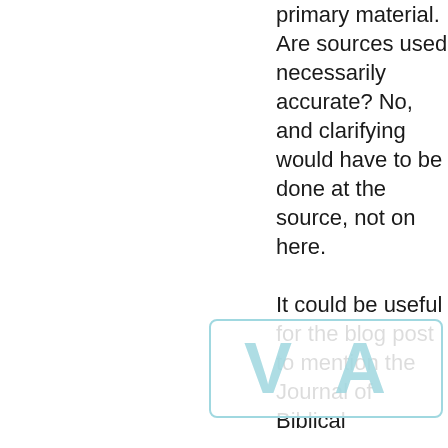primary material. Are sources used necessarily accurate? No, and clarifying would have to be done at the source, not on here. It could be useful for the blog post to mention the Journal of Biblical ... in case just skip the
[Figure (logo): Watermark logo with stylized 'V' and 'A' letters in light blue, inside a rounded rectangle border]